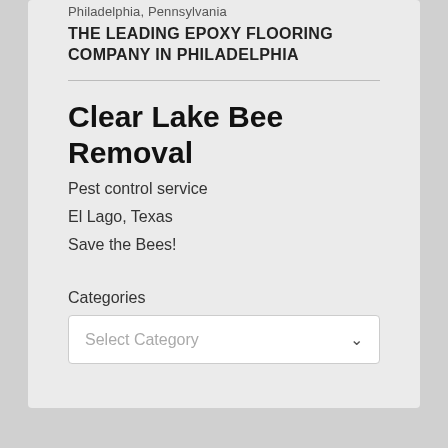Philadelphia, Pennsylvania
THE LEADING EPOXY FLOORING COMPANY IN PHILADELPHIA
Clear Lake Bee Removal
Pest control service
El Lago, Texas
Save the Bees!
Categories
Select Category